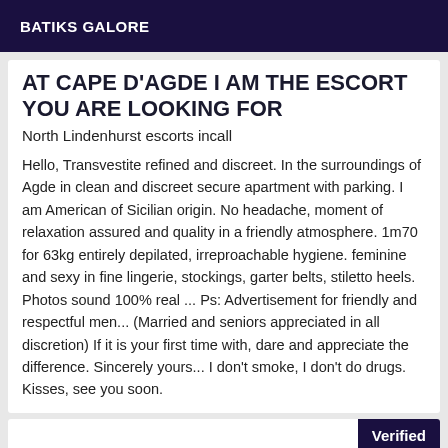BATIKS GALORE
AT CAPE D'AGDE I AM THE ESCORT YOU ARE LOOKING FOR
North Lindenhurst escorts incall
Hello, Transvestite refined and discreet. In the surroundings of Agde in clean and discreet secure apartment with parking. I am American of Sicilian origin. No headache, moment of relaxation assured and quality in a friendly atmosphere. 1m70 for 63kg entirely depilated, irreproachable hygiene. feminine and sexy in fine lingerie, stockings, garter belts, stiletto heels. Photos sound 100% real ... Ps: Advertisement for friendly and respectful men... (Married and seniors appreciated in all discretion) If it is your first time with, dare and appreciate the difference. Sincerely yours... I don't smoke, I don't do drugs. Kisses, see you soon.
Verified